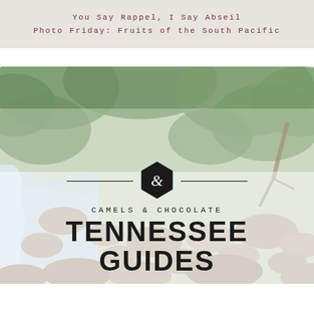You Say Rappel, I Say Abseil
Photo Friday: Fruits of the South Pacific
[Figure (photo): A forest stream flowing over mossy rocks with lush green trees in the background. Overlaid on the bottom portion is a logo and text for 'Camels & Chocolate Tennessee Guides'. The logo features a black hexagonal shape with an ampersand symbol, flanked by horizontal lines. Below reads 'CAMELS & CHOCOLATE' in spaced uppercase letters, then 'TENNESSEE GUIDES' in large bold uppercase text.]